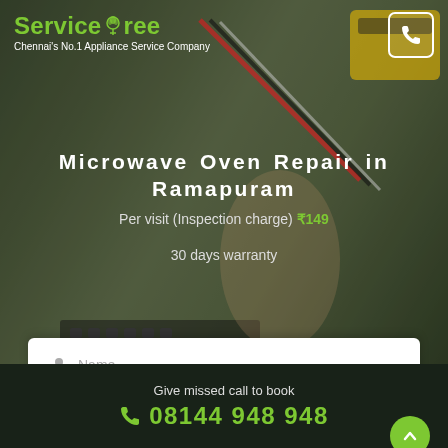[Figure (screenshot): ServiceTree website screenshot showing microwave oven repair service page for Ramapuram, Chennai. Hero section with dark overlay on a technician working background image. Logo at top left, phone button at top right.]
ServiceTree
Chennai's No.1 Appliance Service Company
Microwave Oven Repair in Ramapuram
Per visit (Inspection charge) ₹149
30 days warranty
Name
Mobile No.
Book Now
By clicking Book Now, you agree to our terms
Give missed call to book
08144 948 948